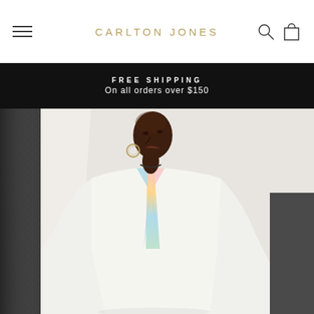CARLTON JONES
FREE SHIPPING
On all orders over $150
[Figure (photo): Fashion model wearing a white oversized jacket/coat with colorful pastel accents at the collar, wearing hoop earrings, with a shaved head, posed against a light grey/white background. Additional dark textured fabric visible on far left and right edges.]